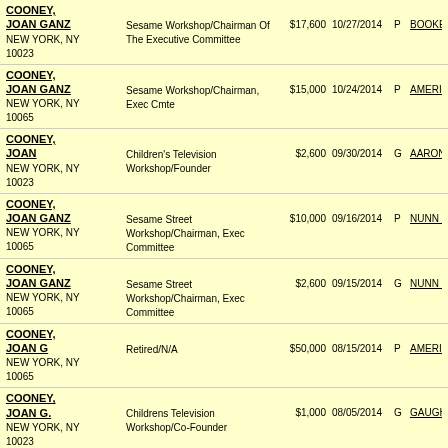| Name/Address | Employer/Occupation | Amount | Date | Type | Recipient |
| --- | --- | --- | --- | --- | --- |
| COONEY, JOAN GANZ
NEW YORK, NY 10023 | Sesame Workshop/Chairman Of The Executive Committee | $17,600 | 10/27/2014 | P | BOOKER |
| COONEY, JOAN GANZ
NEW YORK, NY 10065 | Sesame Workshop/Chairman, Exec Cmte | $15,000 | 10/24/2014 | P | AMERIC |
| COONEY, JOAN
NEW YORK, NY 10023 | Children's Television Workshop/Founder | $2,600 | 09/30/2014 | G | AARON |
| COONEY, JOAN GANZ
NEW YORK, NY 10065 | Sesame Street Workshop/Chairman, Exec Committee | $10,000 | 09/16/2014 | P | NUNN V |
| COONEY, JOAN GANZ
NEW YORK, NY 10065 | Sesame Street Workshop/Chairman, Exec Committee | $2,600 | 09/15/2014 | G | NUNN F |
| COONEY, JOAN G
NEW YORK, NY 10065 | Retired/N/A | $50,000 | 08/15/2014 | P | AMERIC |
| COONEY, JOAN G.
NEW YORK, NY 10023 | Childrens Television Workshop/Co-Founder | $1,000 | 08/05/2014 | G | GAUGH |